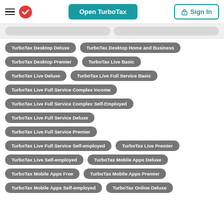Open TurboTax | Sign In
TurboTax Desktop Deluxe
TurboTax Desktop Home and Business
TurboTax Desktop Premier
TurboTax Live Basic
TurboTax Live Deluxe
TurboTax Live Full Service Basic
TurboTax Live Full Service Complex Income
TurboTax Live Full Service Complex Self-Employed
TurboTax Live Full Service Deluxe
TurboTax Live Full Service Premier
TurboTax Live Full Service Self-employed
TurboTax Live Premier
TurboTax Live Self-employed
TurboTax Mobile Apps Deluxe
TurboTax Mobile Apps Free
TurboTax Mobile Apps Premier
TurboTax Mobile Apps Self-employed
TurboTax Online Deluxe